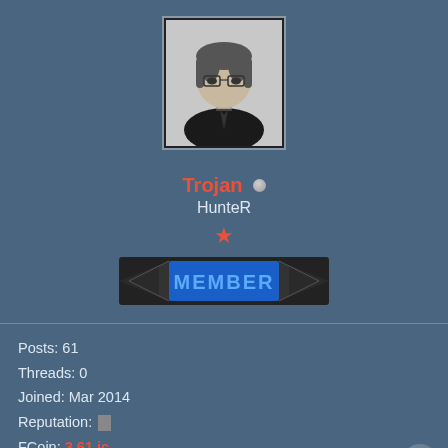[Figure (illustration): Forum user profile avatar: anime-style character with dark outfit and glasses, black and white illustration]
Trojan
HunteR
[Figure (illustration): Member badge with decorative arrows and blue MEMBER text on dark background]
Posts: 61
Threads: 0
Joined: Mar 2014
Reputation:
FCoin: 3.61 jc
Thanks Received: 0
05-24-2014, 02:03 AM
#5
nunggu yg blueray sekalian. nanggung klo gambarnya masih